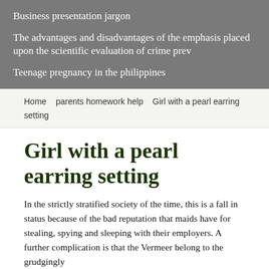Business presentation jargon

The advantages and disadvantages of the emphasis placed upon the scientific evaluation of crime prev

Teenage pregnancy in the philippines
Home   parents homework help   Girl with a pearl earring setting
Girl with a pearl earring setting
In the strictly stratified society of the time, this is a fall in status because of the bad reputation that maids have for stealing, spying and sleeping with their employers. A further complication is that the Vermeer belong to the grudgingly